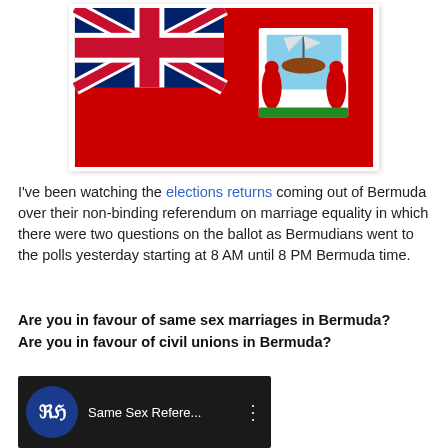[Figure (illustration): Flag of Bermuda — red background with Union Jack in upper left canton and Bermuda coat of arms on the right side]
I've been watching the elections returns coming out of Bermuda over their non-binding referendum on marriage equality in which there were two questions on the ballot as Bermudians went to the polls yesterday starting at 8 AM until 8 PM Bermuda time.
Are you in favour of same sex marriages in Bermuda?
Are you in favour of civil unions in Bermuda?
[Figure (screenshot): YouTube video thumbnail showing RG logo and title 'Same Sex Refere...' with three-dot menu icon]